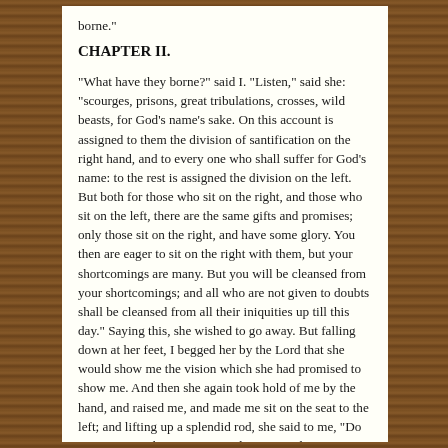borne."
CHAPTER II.
"What have they borne?" said I. "Listen," said she: "scourges, prisons, great tribulations, crosses, wild beasts, for God's name's sake. On this account is assigned to them the division of santification on the right hand, and to every one who shall suffer for God's name: to the rest is assigned the division on the left. But both for those who sit on the right, and those who sit on the left, there are the same gifts and promises; only those sit on the right, and have some glory. You then are eager to sit on the right with them, but your shortcomings are many. But you will be cleansed from your shortcomings; and all who are not given to doubts shall be cleansed from all their iniquities up till this day." Saying this, she wished to go away. But falling down at her feet, I begged her by the Lord that she would show me the vision which she had promised to show me. And then she again took hold of me by the hand, and raised me, and made me sit on the seat to the left; and lifting up a splendid rod, she said to me, "Do you see something great?" And I say, "Lady, I see nothing." She said to me, "Lo!